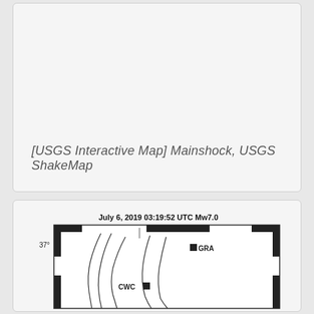[Figure (other): Empty gray placeholder area for USGS Interactive Map / Mainshock USGS ShakeMap]
[USGS Interactive Map] Mainshock, USGS ShakeMap
[Figure (map): Seismic map showing July 6, 2019 03:19:52 UTC Mw7.0 earthquake with fault lines and station markers GRA and CWC near 37 degrees latitude]